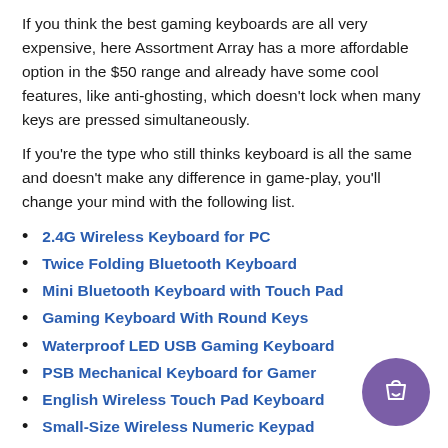If you think the best gaming keyboards are all very expensive, here Assortment Array has a more affordable option in the $50 range and already have some cool features, like anti-ghosting, which doesn't lock when many keys are pressed simultaneously.
If you're the type who still thinks keyboard is all the same and doesn't make any difference in game-play, you'll change your mind with the following list.
2.4G Wireless Keyboard for PC
Twice Folding Bluetooth Keyboard
Mini Bluetooth Keyboard with Touch Pad
Gaming Keyboard With Round Keys
Waterproof LED USB Gaming Keyboard
PSB Mechanical Keyboard for Gamer
English Wireless Touch Pad Keyboard
Small-Size Wireless Numeric Keypad
Fold Able Wireless Keypad for Pc
Gaming Keypad with LED Back Light